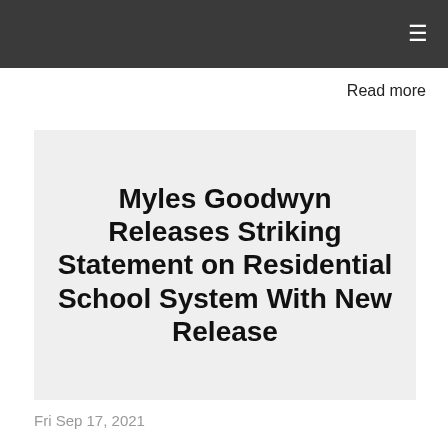≡
Read more
Myles Goodwyn Releases Striking Statement on Residential School System With New Release
Fri Sep 17, 2021